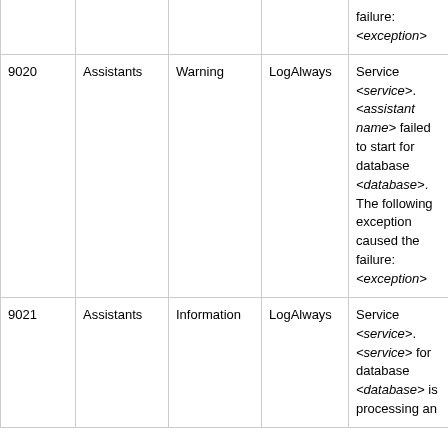| ID | Category | Level | Log | Message |
| --- | --- | --- | --- | --- |
|  |  |  |  | failure: <exception> |
| 9020 | Assistants | Warning | LogAlways | Service <service>.<assistant name> failed to start for database <database>. The following exception caused the failure: <exception> |
| 9021 | Assistants | Information | LogAlways | Service <service>.<service> for database <database> is processing an |